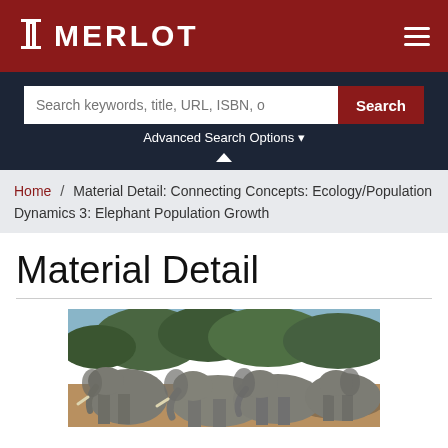MERLOT
Search keywords, title, URL, ISBN, o
Advanced Search Options
Home / Material Detail: Connecting Concepts: Ecology/Population Dynamics 3: Elephant Population Growth
Material Detail
[Figure (photo): A herd of elephants gathered near water with trees in the background]